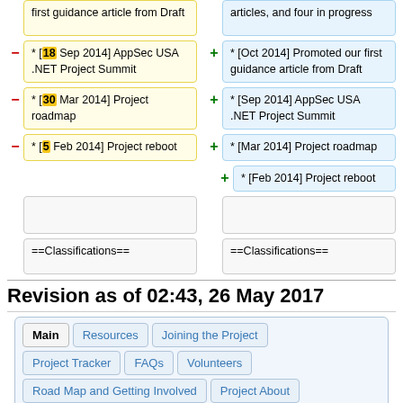* [18 Sep 2014] AppSec USA .NET Project Summit (removed)
* [Oct 2014] Promoted our first guidance article from Draft (added)
* [30 Mar 2014] Project roadmap (removed)
* [Sep 2014] AppSec USA .NET Project Summit (added)
* [5 Feb 2014] Project reboot (removed)
* [Mar 2014] Project roadmap (added)
* [Feb 2014] Project reboot (added)
==Classifications==
==Classifications==
Revision as of 02:43, 26 May 2017
Main | Resources | Joining the Project | Project Tracker | FAQs | Volunteers | Road Map and Getting Involved | Project About